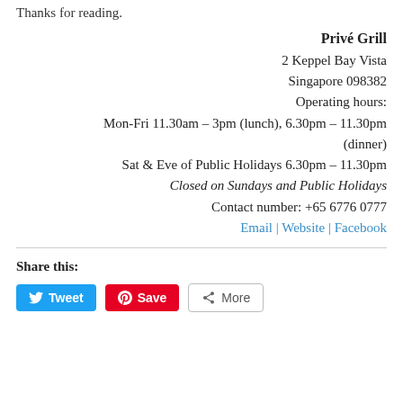Thanks for reading.
Privé Grill
2 Keppel Bay Vista
Singapore 098382
Operating hours:
Mon-Fri 11.30am – 3pm (lunch), 6.30pm – 11.30pm (dinner)
Sat & Eve of Public Holidays 6.30pm – 11.30pm
Closed on Sundays and Public Holidays
Contact number: +65 6776 0777
Email | Website | Facebook
Share this:
Tweet  Save  More